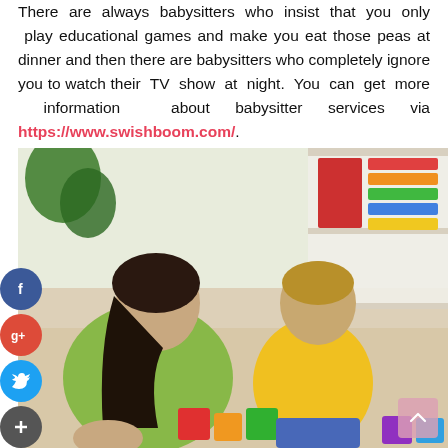There are always babysitters who insist that you only play educational games and make you eat those peas at dinner and then there are babysitters who completely ignore you to watch their TV show at night. You can get more information about babysitter services via https://www.swishboom.com/.
[Figure (photo): A babysitter in a green shirt sitting on the floor with a young child in a yellow shirt, playing with colorful building blocks. Social media sharing icons (Facebook, Google+, Twitter, plus) are overlaid on the left side of the image.]